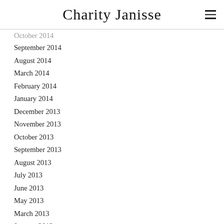Charity Janisse
October 2014 (partial)
September 2014
August 2014
March 2014
February 2014
January 2014
December 2013
November 2013
October 2013
September 2013
August 2013
July 2013
June 2013
May 2013
March 2013
January 2013
December 2012